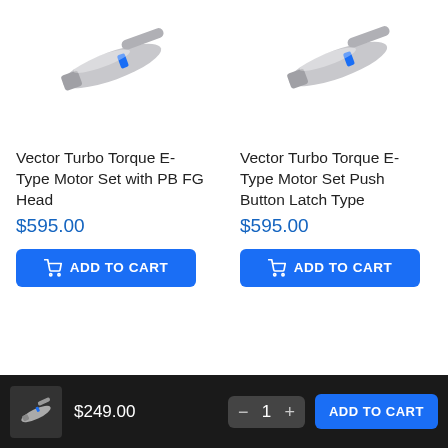[Figure (photo): Dental handpiece - Vector Turbo Torque E-Type motor attachment, left product]
[Figure (photo): Dental handpiece - Vector Turbo Torque E-Type motor attachment, right product]
Vector Turbo Torque E-Type Motor Set with PB FG Head
$595.00
ADD TO CART
Vector Turbo Torque E-Type Motor Set Push Button Latch Type
$595.00
ADD TO CART
$249.00  1  ADD TO CART